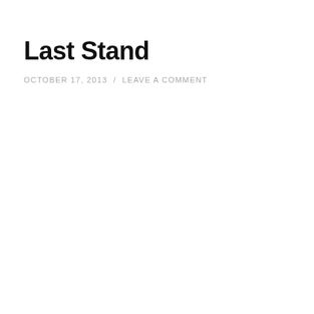Last Stand
OCTOBER 17, 2013  /  LEAVE A COMMENT